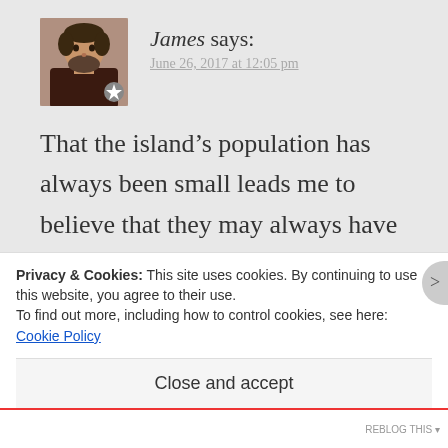[Figure (photo): Profile photo of James, a middle-aged man with a beard, wearing a dark top. Has a star badge overlay in the bottom-right corner.]
James says:
June 26, 2017 at 12:05 pm
That the island’s population has always been small leads me to believe that they may always have practiced illegal and forbidden sexual acts. As I ponder the island’s history further, I wonder if my final line in the story about their ancestors being ashamed of them is
Privacy & Cookies: This site uses cookies. By continuing to use this website, you agree to their use.
To find out more, including how to control cookies, see here: Cookie Policy
Close and accept